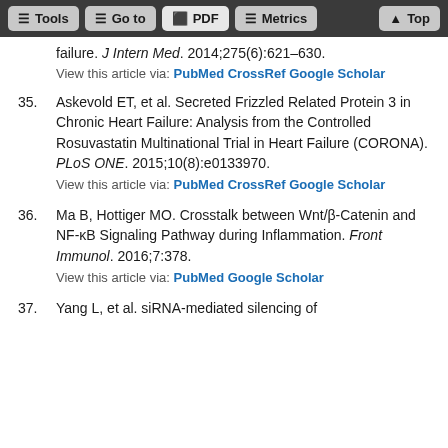Tools | Go to | PDF | Metrics | Top
failure. J Intern Med. 2014;275(6):621–630.
View this article via: PubMed CrossRef Google Scholar
35. Askevold ET, et al. Secreted Frizzled Related Protein 3 in Chronic Heart Failure: Analysis from the Controlled Rosuvastatin Multinational Trial in Heart Failure (CORONA). PLoS ONE. 2015;10(8):e0133970.
View this article via: PubMed CrossRef Google Scholar
36. Ma B, Hottiger MO. Crosstalk between Wnt/β-Catenin and NF-κB Signaling Pathway during Inflammation. Front Immunol. 2016;7:378.
View this article via: PubMed Google Scholar
37. Yang L, et al. siRNA-mediated silencing of